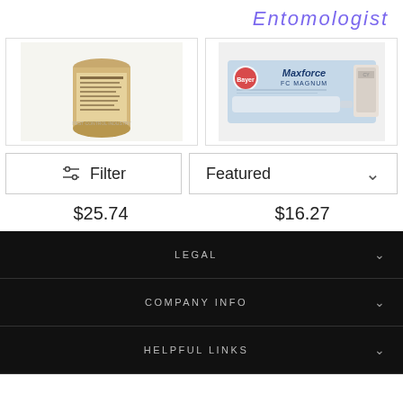Entomologist
[Figure (photo): Product image: a cylindrical container with a label, pest control product]
[Figure (photo): Product image: Maxforce FC Magnum bait gel syringe packaging]
Filter
Featured
$25.74
$16.27
LEGAL
COMPANY INFO
HELPFUL LINKS